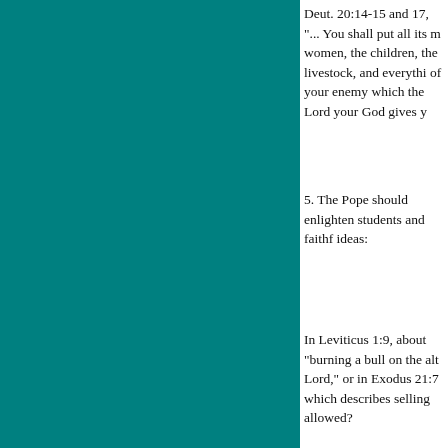Deut. 20:14-15 and 17, "... You shall put all its men, women, the children, the livestock, and everything of your enemy which the Lord your God gives you..."
5. The Pope should enlighten students and faithful about these troubling ideas:
In Leviticus 1:9, about "burning a bull on the altar to the Lord," or in Exodus 21:7 which describes selling daughters — is that still allowed?
Lev. 25:44 states that the faithful may possess slaves. Does that include the Americans (who didn't exist as a nation then)?
Ex. 35:2 states that anyone who works on the Sabbath...